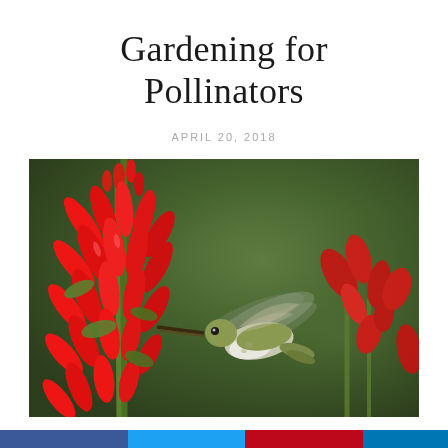Gardening for Pollinators
APRIL 20, 2018
[Figure (photo): A hummingbird hovering near bright red cardinal flower (Lobelia cardinalis) blooms against a blurred green background. The hummingbird is small, with green and white plumage, and is feeding from one of the red tubular flowers.]